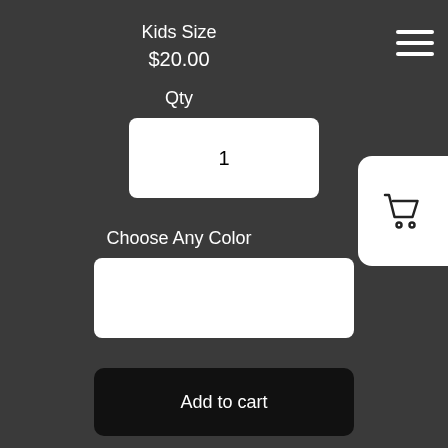Kids Size
$20.00
Qty
1
[Figure (illustration): Shopping cart icon in a white rounded rectangle button on the right side]
Choose Any Color
Add to cart